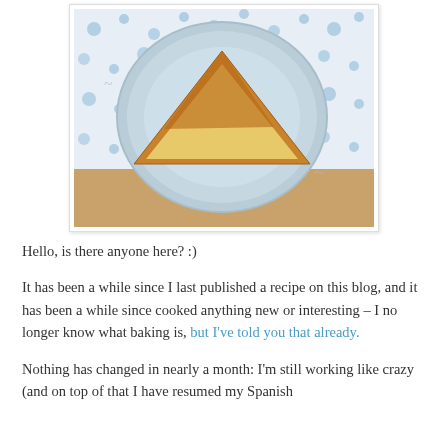[Figure (photo): A slice of golden-brown cake on a light blue decorative plate, placed on a blue floral fabric tablecloth over a wooden surface.]
Hello, is there anyone here? :)
It has been a while since I last published a recipe on this blog, and it has been a while since cooked anything new or interesting – I no longer know what baking is, but I've told you that already.
Nothing has changed in nearly a month: I'm still working like crazy (and on top of that I have resumed my Spanish